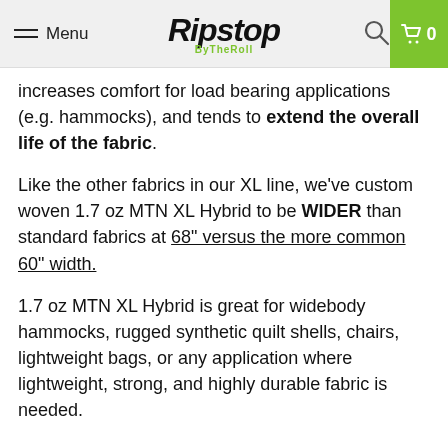Menu | Ripstop ByTheRoll | 🔍 | 🛒 0
increases comfort for load bearing applications (e.g. hammocks), and tends to extend the overall life of the fabric.
Like the other fabrics in our XL line, we've custom woven 1.7 oz MTN XL Hybrid to be WIDER than standard fabrics at 68" versus the more common 60" width.
1.7 oz MTN XL Hybrid is great for widebody hammocks, rugged synthetic quilt shells, chairs, lightweight bags, or any application where lightweight, strong, and highly durable fabric is needed.